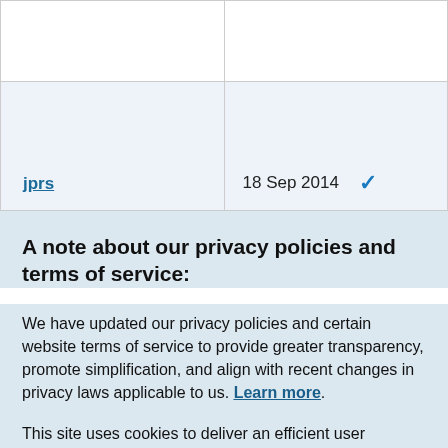|  |  |
| jprs | 18 Sep 2014 |
A note about our privacy policies and terms of service:
We have updated our privacy policies and certain website terms of service to provide greater transparency, promote simplification, and align with recent changes in privacy laws applicable to us. Learn more.
This site uses cookies to deliver an efficient user experience and to help us see how the site is used. Learn more. OK